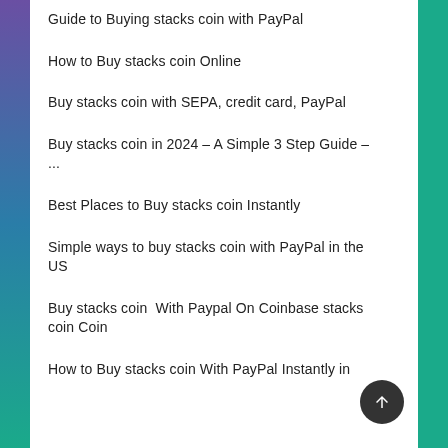Guide to Buying stacks coin with PayPal
How to Buy stacks coin Online
Buy stacks coin with SEPA, credit card, PayPal
Buy stacks coin in 2024 – A Simple 3 Step Guide – ...
Best Places to Buy stacks coin Instantly
Simple ways to buy stacks coin with PayPal in the US
Buy stacks coin  With Paypal On Coinbase stacks coin Coin
How to Buy stacks coin With PayPal Instantly in